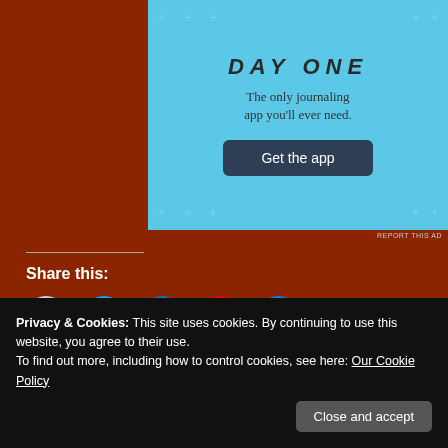[Figure (advertisement): Day One journaling app advertisement on a cyan/light blue background with the text 'The only journaling app you'll ever need.' and a dark 'Get the app' button]
REPORT THIS AD
Share this:
[Figure (infographic): Five social sharing icon circles: email (grey), Twitter (blue), LinkedIn (dark blue), Pinterest (red), Facebook (blue)]
Like this:
Loading...
Privacy & Cookies: This site uses cookies. By continuing to use this website, you agree to their use.
To find out more, including how to control cookies, see here: Our Cookie Policy
Close and accept